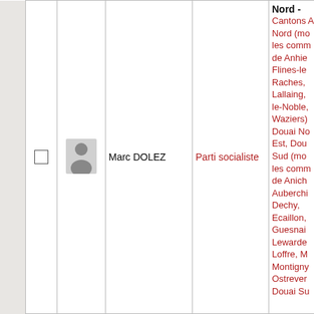|  |  | Photo | Nom | Parti | Circonscription |
| --- | --- | --- | --- | --- | --- |
|  | ☐ | [photo] | Marc DOLEZ | Parti socialiste | Nord - Cantons Arleux, Douai Nord (moins les communes de Anhiers, Flines-les-Raches, Lallaing, Sin-le-Noble, Waziers), Douai Nord-Est, Douai Sud (moins les communes de Aniche, Auberchicourt, Dechy, Ecaillon, Guesnain, Lewarde, Loffre, Masny, Montigny, Ostrevents, Douai Sud... |